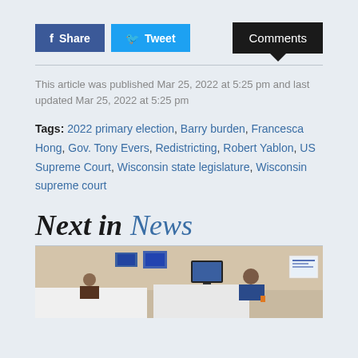f Share  Tweet  Comments
This article was published Mar 25, 2022 at 5:25 pm and last updated Mar 25, 2022 at 5:25 pm
Tags: 2022 primary election, Barry burden, Francesca Hong, Gov. Tony Evers, Redistricting, Robert Yablon, US Supreme Court, Wisconsin state legislature, Wisconsin supreme court
Next in News
[Figure (photo): Photo of people at desks with computers in what appears to be a tech store or workspace]